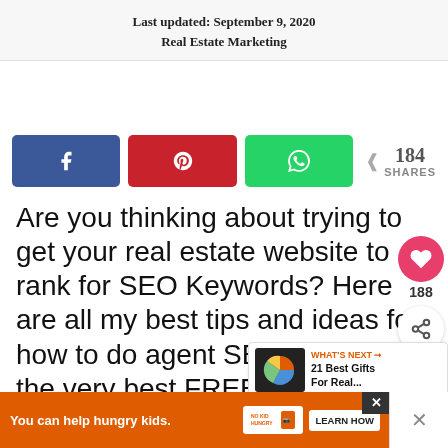Last updated: September 9, 2020
Real Estate Marketing
[Figure (infographic): Social share buttons: Facebook (blue), Pinterest (red), WhatsApp (green), with share count of 184 SHARES]
Are you thinking about trying to get your real estate website to rank for SEO Keywords? Here are all my best tips and ideas for how to do agent SEO as well as the very best FREE tools you can use to do your research!
[Figure (infographic): Floating right sidebar: heart button (pink, 188 count) and share+ button]
[Figure (infographic): What's Next widget: pie chart thumbnail, label 'WHAT'S NEXT', text '21 Best Gifts For Real...']
[Figure (infographic): Ad banner at bottom: orange background, 'You can help hungry kids.' No Kid Hungry logo, LEARN HOW button, close X button]